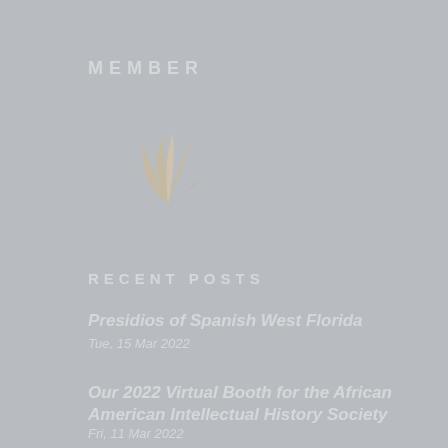MEMBER
[Figure (logo): Decorative fan/leaf logo mark in light beige/tan color on gray background]
RECENT POSTS
Presidios of Spanish West Florida
Tue, 15 Mar 2022
Our 2022 Virtual Booth for the African American Intellectual History Society
Fri, 11 Mar 2022